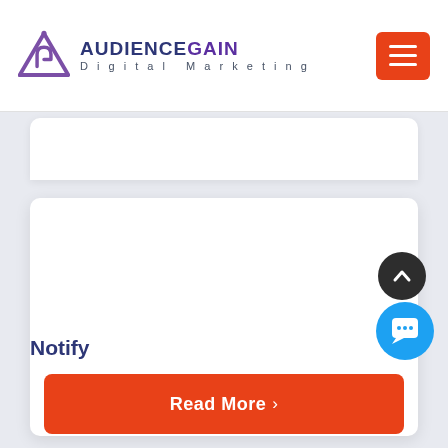[Figure (logo): AudienceGain Digital Marketing logo with purple triangular icon and text]
[Figure (other): Red hamburger menu button in top right corner]
Notify
Read More >